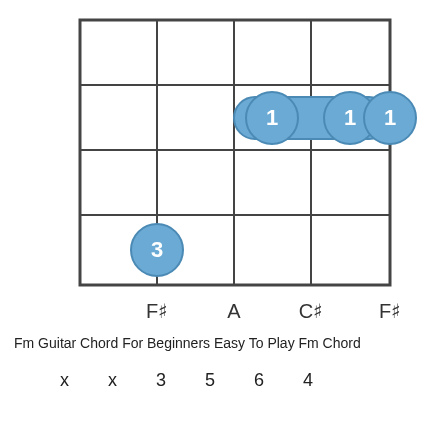[Figure (other): Guitar chord diagram for Fm chord showing a partial barre on fret 2 (strings 3-5 with finger 1) and a single note on string 4 fret 4 (finger 3). String labels F#, A, C#, F# shown below.]
Fm Guitar Chord For Beginners Easy To Play Fm Chord
x  x  3  5  6  4